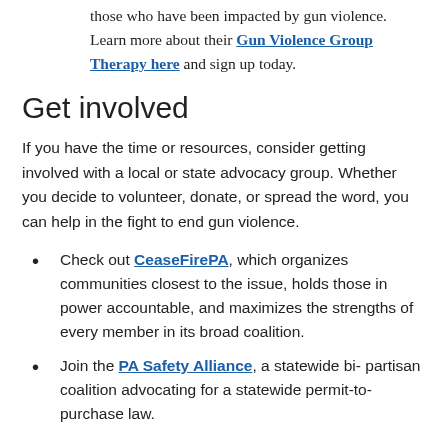those who have been impacted by gun violence. Learn more about their Gun Violence Group Therapy here and sign up today.
Get involved
If you have the time or resources, consider getting involved with a local or state advocacy group. Whether you decide to volunteer, donate, or spread the word, you can help in the fight to end gun violence.
Check out CeaseFirePA, which organizes communities closest to the issue, holds those in power accountable, and maximizes the strengths of every member in its broad coalition.
Join the PA Safety Alliance, a statewide bi-partisan coalition advocating for a statewide permit-to-purchase law.